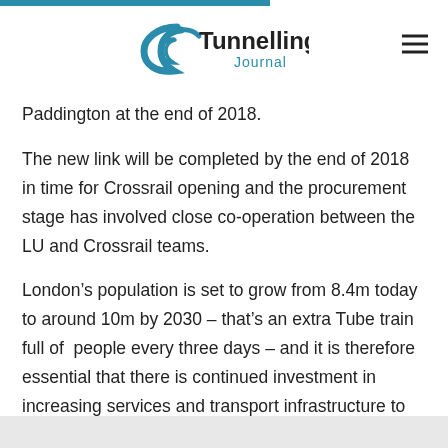Tunnelling Journal
Paddington at the end of 2018.
The new link will be completed by the end of 2018 in time for Crossrail opening and the procurement stage has involved close co-operation between the LU and Crossrail teams.
London’s population is set to grow from 8.4m today to around 10m by 2030 – that’s an extra Tube train full of people every three days – and it is therefore essential that there is continued investment in increasing services and transport infrastructure to meet this increasing demand.